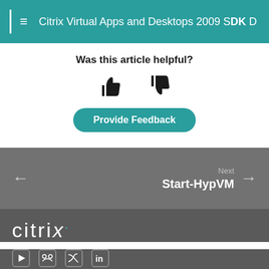Citrix Virtual Apps and Desktops 2009 SDK D
Was this article helpful?
[Figure (other): Thumbs up and thumbs down icons for article feedback]
Provide Feedback
Next
Start-HypVM
[Figure (logo): Citrix logo in white text on dark grey background]
[Figure (other): Social media icons: YouTube, GitHub/Mastodon, Twitter, LinkedIn]
Privacy and legal terms | Cookie preferences
©1999-2021 Citrix Systems, Inc. All rights reserved.